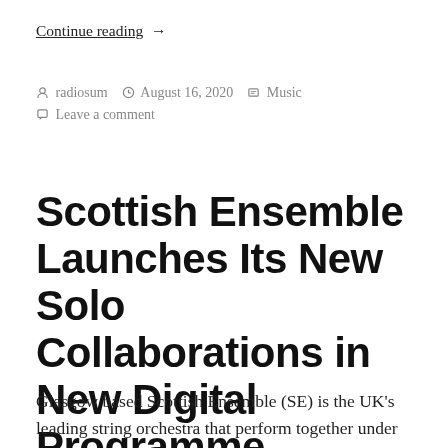Continue reading  →
radiosum  August 16, 2020  Music  Leave a comment
Scottish Ensemble Launches Its New Solo Collaborations in New Digital Programme
Glasgow based Scottish Ensemble (SE) is the UK's leading string orchestra that perform together under the artistic direction of Jonathan Morton